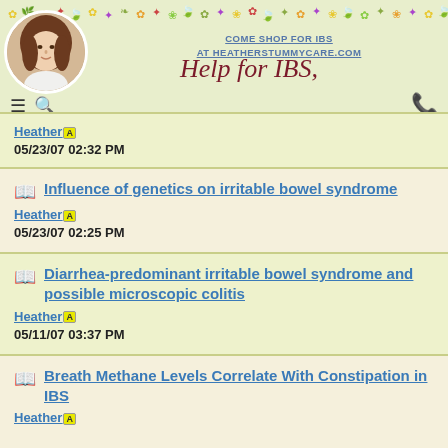[Figure (screenshot): Website header for Help for IBS with floral decorative strip, profile photo of woman, navigation icons, phone icon, and site title in cursive script]
COME SHOP FOR IBS
AT HEATHERSTUMMYCARE.COM
Heather
05/23/07 02:32 PM
Influence of genetics on irritable bowel syndrome
Heather
05/23/07 02:25 PM
Diarrhea-predominant irritable bowel syndrome and possible microscopic colitis
Heather
05/11/07 03:37 PM
Breath Methane Levels Correlate With Constipation in IBS
Heather